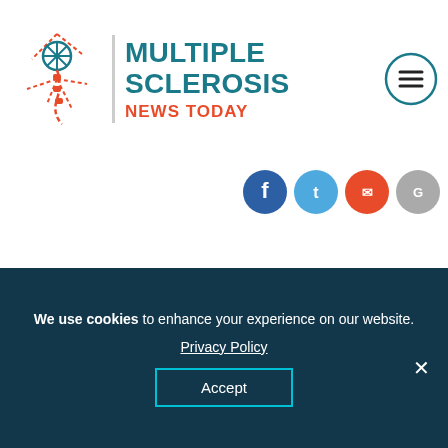Multiple Sclerosis News Today
[Figure (logo): Multiple Sclerosis News Today logo with neuron icon and hamburger menu icon]
[Figure (infographic): Social share buttons: Facebook (dark blue), Twitter (light blue), Pinterest/email (orange-red), and a grey circular button]
Joy Nabors – The Raw Beauty Project NYC model
We use cookies to enhance your experience on our website. Privacy Policy Accept